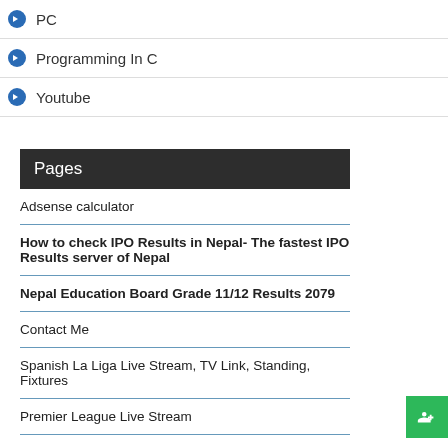PC
Programming In C
Youtube
Pages
Adsense calculator
How to check IPO Results in Nepal- The fastest IPO Results server of Nepal
Nepal Education Board Grade 11/12 Results 2079
Contact Me
Spanish La Liga Live Stream, TV Link, Standing, Fixtures
Premier League Live Stream
Champions League Live Stream
Europa League Live Stream